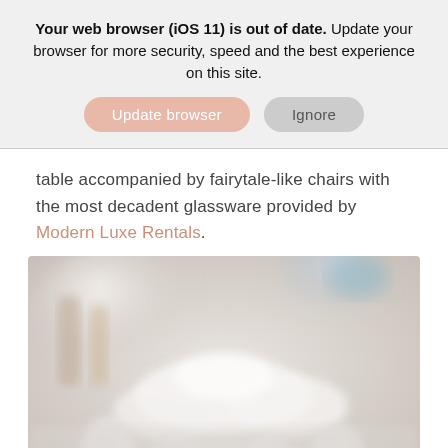Your web browser (iOS 11) is out of date. Update your browser for more security, speed and the best experience on this site.
table accompanied by fairytale-like chairs with the most decadent glassware provided by Modern Luxe Rentals.
[Figure (photo): Blurred wedding reception table setting with white floral arrangements, elegant chairs, and soft bokeh lighting.]